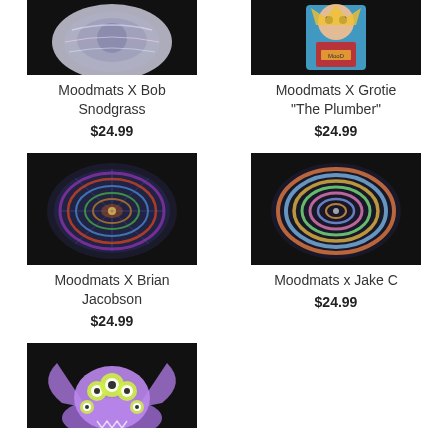[Figure (photo): Moodmats X Bob Snodgrass product photo - decorative mat on black background (partially cropped at top)]
Moodmats X Bob Snodgrass
$24.99
[Figure (photo): Moodmats X Grotie 'The Plumber' product photo - character figure on black background (partially cropped at top)]
Moodmats X Grotie "The Plumber"
$24.99
[Figure (photo): Moodmats X Brian Jacobson product photo - colorful circular patterned mat on black background]
Moodmats X Brian Jacobson
$24.99
[Figure (photo): Moodmats x Jake C product photo - colorful spiral patterned mat on black background]
Moodmats x Jake C
$24.99
[Figure (photo): Fifth product photo - purple monster character figure on black background (partially cropped at bottom)]